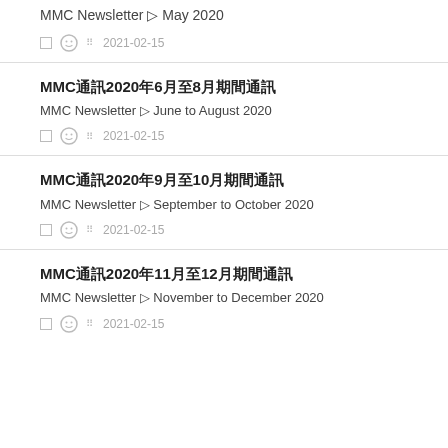MMC Newsletter – May 2020
2021-02-15
MMC通訊2020年6月至8月期間通訊
MMC Newsletter – June to August 2020
2021-02-15
MMC通訊2020年9月至10月期間通訊
MMC Newsletter – September to October 2020
2021-02-15
MMC通訊2020年11月至12月期間通訊
MMC Newsletter – November to December 2020
2021-02-15